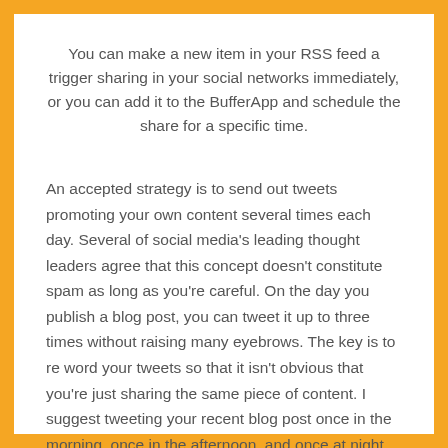You can make a new item in your RSS feed a trigger sharing in your social networks immediately, or you can add it to the BufferApp and schedule the share for a specific time.
An accepted strategy is to send out tweets promoting your own content several times each day. Several of social media's leading thought leaders agree that this concept doesn't constitute spam as long as you're careful. On the day you publish a blog post, you can tweet it up to three times without raising many eyebrows. The key is to re word your tweets so that it isn't obvious that you're just sharing the same piece of content. I suggest tweeting your recent blog post once in the morning, once in the afternoon, and once at night.